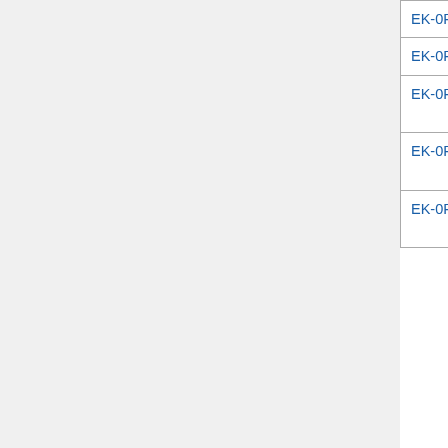| Code | Title | Date |
| --- | --- | --- |
| EK-0RM05-SV-002 | RM05 Disk Subsystem Service Manual | 1982 April |
| EK-0RM05-UG-002 | RM05 Disk Subsystem User Guide | 1982 March |
| EK-0RP04-IP-002 | RP04 Disk Pack Drive Illustrated Parts Breakdown | 1979 October |
| EK-0RV20-OM-002 | RV20 Optical Disk Subsystem Owner's Manual | 1988 June |
| EK-0RV64-IP-001 | RV64 Optical Library Illustrated Parts Breakdown | 1990 April |